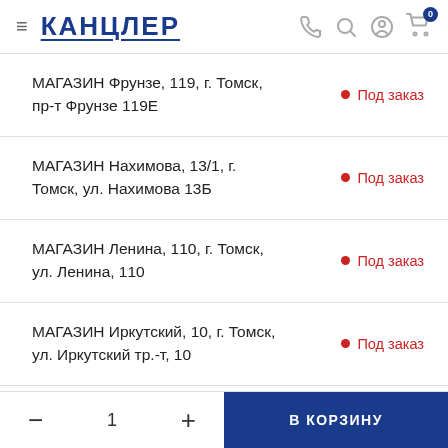КАНЦЛЕР
МАГАЗИН Фрунзе, 119, г. Томск, пр-т Фрунзе 119Е — Под заказ
МАГАЗИН Нахимова, 13/1, г. Томск, ул. Нахимова 13Б — Под заказ
МАГАЗИН Ленина, 110, г. Томск, ул. Ленина, 110 — Под заказ
МАГАЗИН Иркутский, 10, г. Томск, ул. Иркутский тр.-т, 10 — Под заказ
— 1 + В КОРЗИНУ